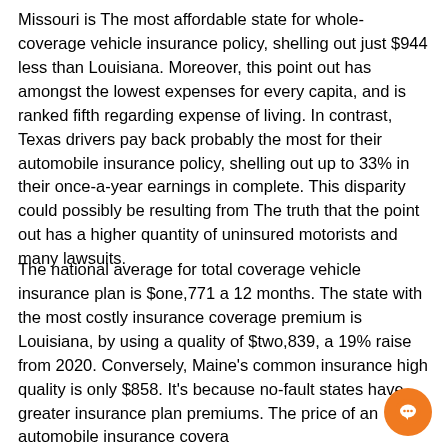Missouri is The most affordable state for whole-coverage vehicle insurance policy, shelling out just $944 less than Louisiana. Moreover, this point out has amongst the lowest expenses for every capita, and is ranked fifth regarding expense of living. In contrast, Texas drivers pay back probably the most for their automobile insurance policy, shelling out up to 33% in their once-a-year earnings in complete. This disparity could possibly be resulting from The truth that the point out has a higher quantity of uninsured motorists and many lawsuits.
The national average for total coverage vehicle insurance plan is $one,771 a 12 months. The state with the most costly insurance coverage premium is Louisiana, by using a quality of $two,839, a 19% raise from 2020. Conversely, Maine's common insurance high quality is only $858. It's because no-fault states have greater insurance plan premiums. The price of an automobile insurance coverage